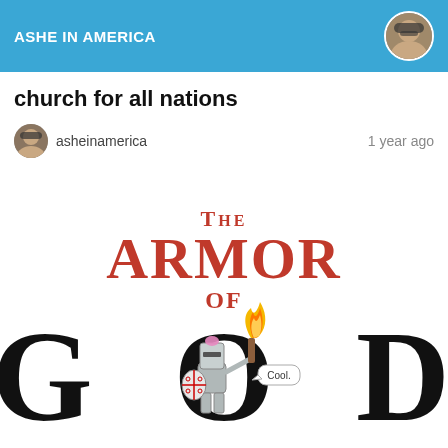ASHE IN AMERICA
church for all nations
asheinamerica    1 year ago
[Figure (illustration): Illustrated book/logo cover showing 'The Armor of God' text. Large black letters spell GOD with a cartoon child knight standing between G and D holding a torch with flame. The word THE appears small above, ARMOR in large red letters, OF in smaller red text. A speech bubble says 'Cool.' The knight wears armor with a shield bearing a cross pattern.]